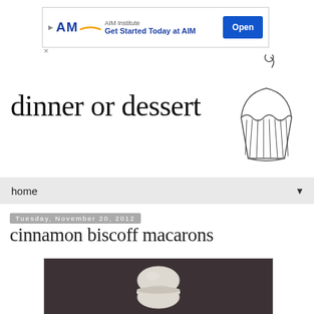[Figure (screenshot): AIM Institute advertisement banner with logo, text 'Get Started Today at AIM', and blue 'Open' button]
[Figure (illustration): Hand-drawn cupcake logo with cherry on top, sketch style]
dinner or dessert
home
Tuesday, November 20, 2012
cinnamon biscoff macarons
[Figure (photo): Photo of a white/cream macaron cookie against a dark brown/charcoal background]